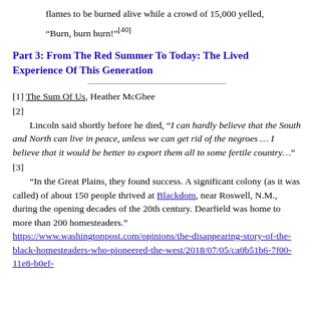flames to be burned alive while a crowd of 15,000 yelled, “Burn, burn burn!”[40]
Part 3: From The Red Summer To Today: The Lived Experience Of This Generation
[1] The Sum Of Us, Heather McGhee
[2] Lincoln said shortly before he died, “I can hardly believe that the South and North can live in peace, unless we can get rid of the negroes … I believe that it would be better to export them all to some fertile country…”
[3] “In the Great Plains, they found success. A significant colony (as it was called) of about 150 people thrived at Blackdom, near Roswell, N.M., during the opening decades of the 20th century. Dearfield was home to more than 200 homesteaders.” https://www.washingtonpost.com/opinions/the-disappearing-story-of-the-black-homesteaders-who-pioneered-the-west/2018/07/05/ca0b51b6-7f00-11e8-b0ef-